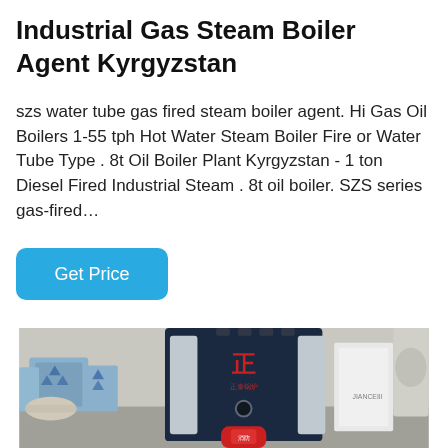Industrial Gas Steam Boiler Agent Kyrgyzstan
szs water tube gas fired steam boiler agent. Hi Gas Oil Boilers 1-55 tph Hot Water Steam Boiler Fire or Water Tube Type . 8t Oil Boiler Plant Kyrgyzstan - 1 ton Diesel Fired Industrial Steam . 8t oil boiler. SZS series gas-fired...
[Figure (photo): Industrial gas steam boiler unit (dark blue/navy casing with silver panels and red cylinder at base) shown in a warehouse/factory setting with packaged materials stacked on the left and white panels on the right.]